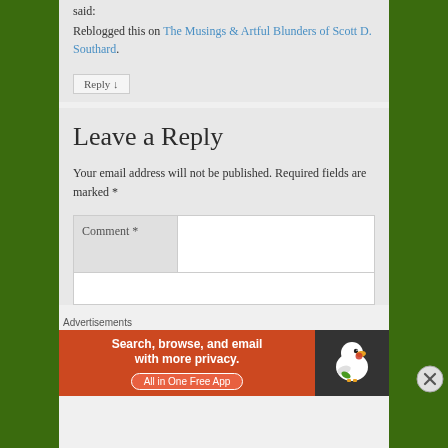said:
Reblogged this on The Musings & Artful Blunders of Scott D. Southard.
Reply ↓
Leave a Reply
Your email address will not be published. Required fields are marked *
Comment *
Advertisements
[Figure (screenshot): DuckDuckGo advertisement banner: orange left side with text 'Search, browse, and email with more privacy. All in One Free App', dark right side with DuckDuckGo duck logo]